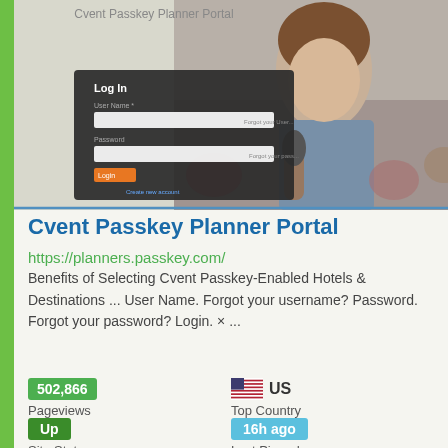[Figure (screenshot): Screenshot of Cvent Passkey Planner Portal login page with a woman speaking into a microphone in the background]
Cvent Passkey Planner Portal
https://planners.passkey.com/
Benefits of Selecting Cvent Passkey-Enabled Hotels & Destinations ... User Name. Forgot your username? Password. Forgot your password? Login. × ...
502,866
Pageviews
US
Top Country
Up
Site Status
16h ago
Last Pinged